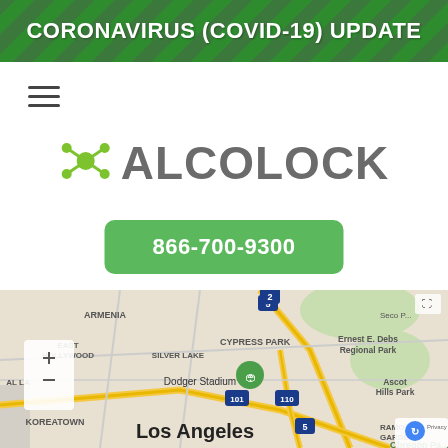CORONAVIRUS (COVID-19) UPDATE
[Figure (logo): Alcolock logo with green molecule/network icon and gray ALCOLOCK text]
866-700-9300
[Figure (map): Google Maps screenshot showing Los Angeles area including Dodger Stadium, Koreatown, Silver Lake, East Hollywood, Cypress Park, Ernest E. Debs Regional Park, Ascot Hills Park, with highway routes 101, 110, 5 visible]